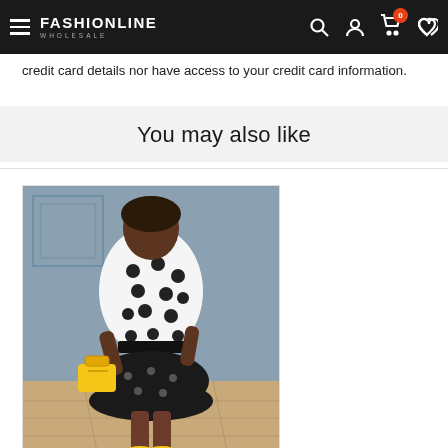FASHIONLINE WHOLESALE
credit card details nor have access to your credit card information.
You may also like
[Figure (photo): Woman wearing a white and black polka dot wrap dress with ruffled hem, holding a yellow handbag, standing on stone pavement in front of a blue wall.]